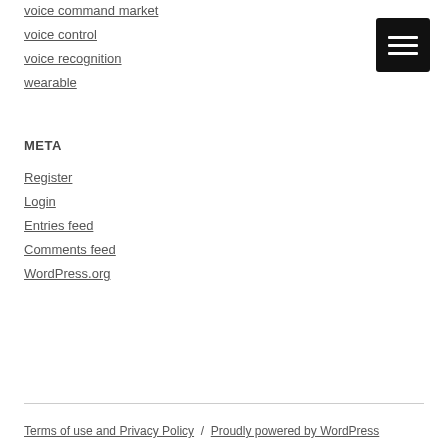voice command market
voice control
voice recognition
wearable
META
Register
Login
Entries feed
Comments feed
WordPress.org
Terms of use and Privacy Policy  /  Proudly powered by WordPress